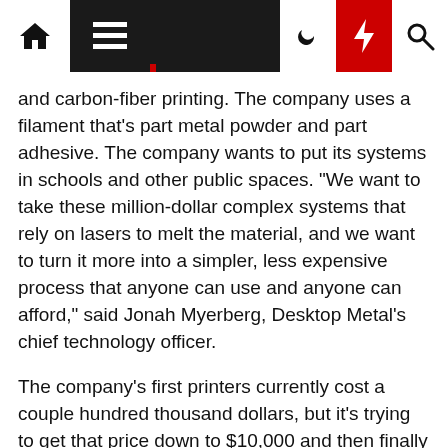[Navigation bar with home, menu, dark mode, lightning, and search icons]
and carbon-fiber printing. The company uses a filament that's part metal powder and part adhesive. The company wants to put its systems in schools and other public spaces. "We want to take these million-dollar complex systems that rely on lasers to melt the material, and we want to turn it more into a simpler, less expensive process that anyone can use and anyone can afford," said Jonah Myerberg, Desktop Metal's chief technology officer.
The company's first printers currently cost a couple hundred thousand dollars, but it's trying to get that price down to $10,000 and then finally down to a price more people can afford. "Every garage should have these," Myerberg said.